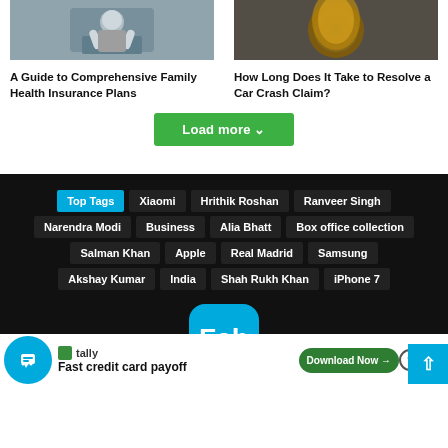[Figure (photo): Person wearing a face mask with hands raised]
[Figure (photo): Gold metallic car part or object close-up]
A Guide to Comprehensive Family Health Insurance Plans
How Long Does It Take to Resolve a Car Crash Claim?
Load more
Top Tags  Xiaomi  Hrithik Roshan  Ranveer Singh  Narendra Modi  Business  Alia Bhatt  Box office collection  Salman Khan  Apple  Real Madrid  Samsung  Akshay Kumar  India  Shah Rukh Khan  iPhone 7
[Figure (logo): Fab app icon in blue with rounded corners]
tally Fast credit card payoff  Download Now